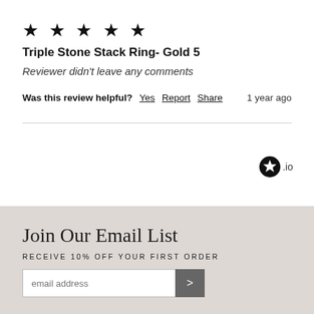★ ★ ★ ★ ★
Triple Stone Stack Ring- Gold 5
Reviewer didn't leave any comments
Was this review helpful? Yes Report Share   1 year ago
[Figure (logo): Stamped.io logo badge (star icon with .io text)]
Join Our Email List
RECEIVE 10% OFF YOUR FIRST ORDER
email address